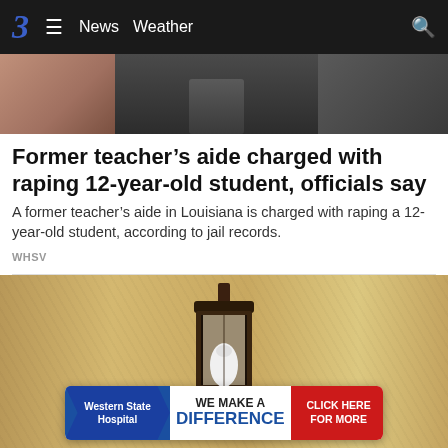3  ≡  News  Weather  🔍
[Figure (photo): Top portion of news article photo showing persons, partially cropped]
Former teacher's aide charged with raping 12-year-old student, officials say
A former teacher's aide in Louisiana is charged with raping a 12-year-old student, according to jail records.
WHSV
[Figure (photo): Photo of an outdoor wall-mounted lantern light fixture on a textured stucco wall]
[Figure (other): Advertisement banner: Western State Hospital - WE MAKE A DIFFERENCE - CLICK HERE FOR MORE]